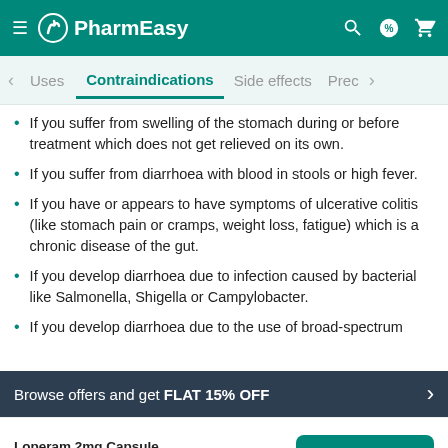PharmEasy
Uses  Contraindications  Side effects  Prec
If you suffer from swelling of the stomach during or before treatment which does not get relieved on its own.
If you suffer from diarrhoea with blood in stools or high fever.
If you have or appears to have symptoms of ulcerative colitis (like stomach pain or cramps, weight loss, fatigue) which is a chronic disease of the gut.
If you develop diarrhoea due to infection caused by bacterial like Salmonella, Shigella or Campylobacter.
If you develop diarrhoea due to the use of broad-spectrum
Browse offers and get FLAT 15% OFF
Loperam 2mg Capsule ₹11.47  15% OFF  Add To Cart